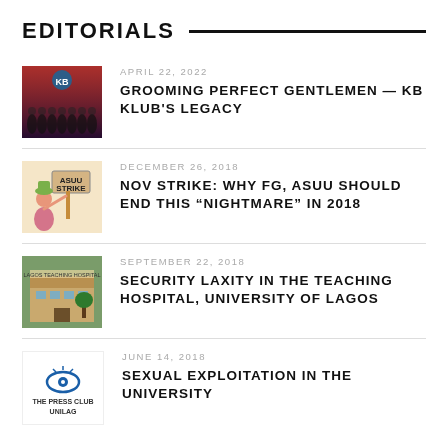EDITORIALS
APRIL 22, 2022 — GROOMING PERFECT GENTLEMEN — KB KLUB'S LEGACY
DECEMBER 26, 2018 — NOV STRIKE: WHY FG, ASUU SHOULD END THIS "NIGHTMARE" IN 2018
SEPTEMBER 22, 2018 — SECURITY LAXITY IN THE TEACHING HOSPITAL, UNIVERSITY OF LAGOS
JUNE 14, 2018 — SEXUAL EXPLOITATION IN THE UNIVERSITY